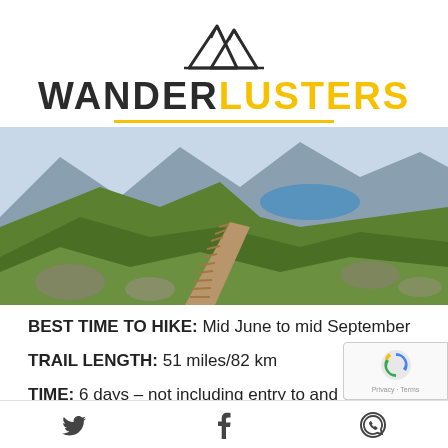[Figure (logo): Wanderlusters logo with mountain icon. 'WANDER' in dark charcoal and 'LUSTERS' in yellow, uppercase bold text.]
[Figure (photo): Panoramic mountain landscape photo showing a wooden boardwalk trail going up a grassy hillside with a blue lake and rocky mountains in the background.]
BEST TIME TO HIKE: Mid June to mid September
TRAIL LENGTH: 51 miles/82 km
TIME: 6 days – not including entry to and exit from ...
Twitter  Facebook  WhatsApp